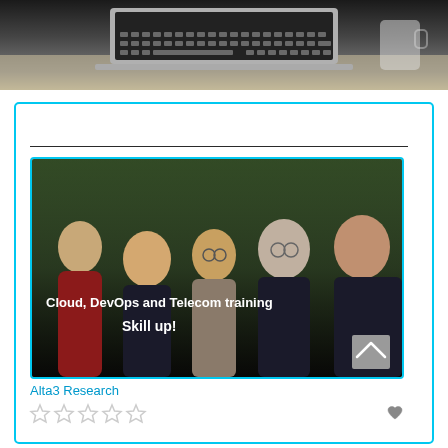[Figure (photo): Top portion of a photo showing a laptop keyboard on a desk, partially visible, dark moody tones]
Course Supplier
[Figure (photo): Team photo of five people in dark polo shirts standing outdoors with trees in background. White text overlay reads 'Cloud, DevOps and Telecom training' and 'Skill up!']
Alta3 Research
[Figure (other): Five empty star rating icons and a heart/favorite icon]